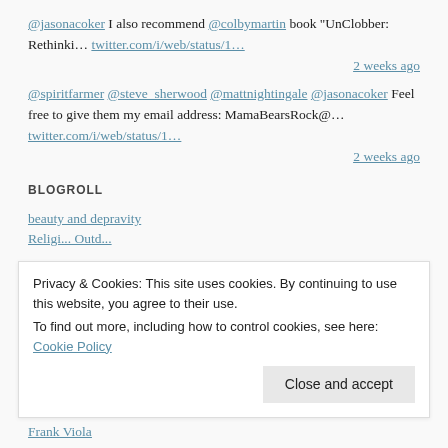@jasonacoker I also recommend @colbymartin book "UnClobber: Rethinki… twitter.com/i/web/status/1…
2 weeks ago
@spiritfarmer @steve_sherwood @mattnightingale @jasonacoker Feel free to give them my email address: MamaBearsRock@… twitter.com/i/web/status/1…
2 weeks ago
BLOGROLL
beauty and depravity
Privacy & Cookies: This site uses cookies. By continuing to use this website, you agree to their use.
To find out more, including how to control cookies, see here: Cookie Policy
Close and accept
Frank Viola